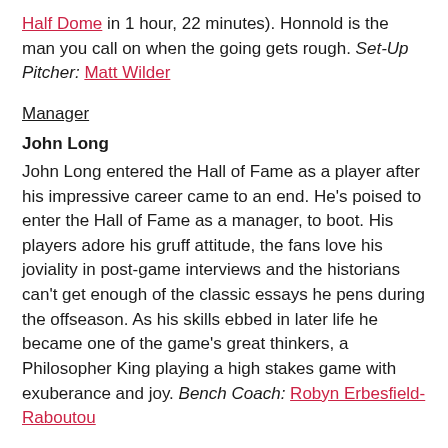Half Dome in 1 hour, 22 minutes). Honnold is the man you call on when the going gets rough. Set-Up Pitcher: Matt Wilder
Manager
John Long
John Long entered the Hall of Fame as a player after his impressive career came to an end. He's poised to enter the Hall of Fame as a manager, to boot. His players adore his gruff attitude, the fans love his joviality in post-game interviews and the historians can't get enough of the classic essays he pens during the offseason. As his skills ebbed in later life he became one of the game's great thinkers, a Philosopher King playing a high stakes game with exuberance and joy. Bench Coach: Robyn Erbesfield-Raboutou
Bat Girl